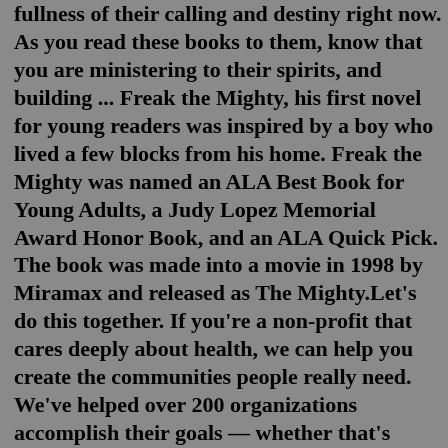fullness of their calling and destiny right now. As you read these books to them, know that you are ministering to their spirits, and building ... Freak the Mighty, his first novel for young readers was inspired by a boy who lived a few blocks from his home. Freak the Mighty was named an ALA Best Book for Young Adults, a Judy Lopez Memorial Award Honor Book, and an ALA Quick Pick. The book was made into a movie in 1998 by Miramax and released as The Mighty.Let's do this together. If you're a non-profit that cares deeply about health, we can help you create the communities people really need. We've helped over 200 organizations accomplish their goals — whether that's research, awareness, support, or a cure. Learn about Partnerships. Freak the Mighty, his first novel for young readers was inspired by a boy who lived a few blocks from his home. Freak the Mighty was named an ALA Best Book for Young Adults, a Judy Lopez Memorial Award Honor Book, and an ALA Quick Pick. The book was made into a